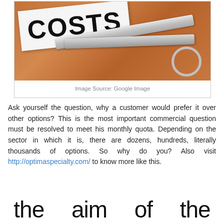[Figure (photo): Photo of scissors cutting a piece of paper that reads 'COSTS' in large bold letters, on a wooden background.]
Image Source: Google Image
Ask yourself the question, why a customer would prefer it over other options? This is the most important commercial question must be resolved to meet his monthly quota. Depending on the sector in which it is, there are dozens, hundreds, literally thousands of options. So why do you? Also visit http://optimaspecialty.com/ to know more like this.
the aim of the